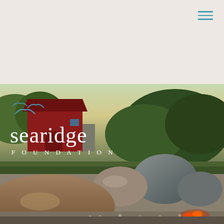[Figure (logo): Searidge Foundation logo with seagull birds above text 'searidge FOUNDATION' overlaid on top-left of photo]
[Figure (photo): Outdoor photo of Searidge Foundation property showing large boulders in gravel foreground with embers/fire, a red barn building with seagull logo on its wall, green trees and shrubs, taken at dusk/sunset]